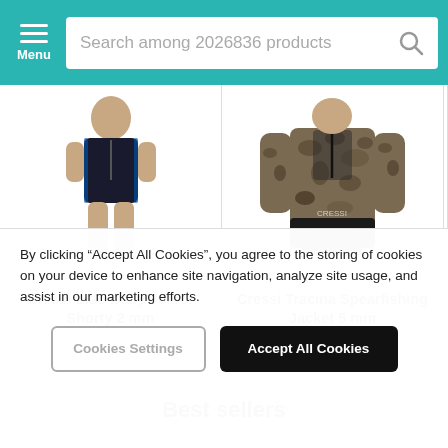Search among 2026836 products
[Figure (photo): Cressi Lido Baby Junior Shorty 2mm wetsuit product photo - child wearing black wetsuit shorts]
Cressi Lido Baby Junior Shorty 2 mm
32.99 $
[Figure (photo): Cressi Tracina Spearfishing Jacket 5mm product photo - camouflage pattern long-sleeve top]
Cressi Tracina Spearfishing Jacket 5 mm
98.99 $
Best sellers
By clicking “Accept All Cookies”, you agree to the storing of cookies on your device to enhance site navigation, analyze site usage, and assist in our marketing efforts.
Cookies Settings
Accept All Cookies